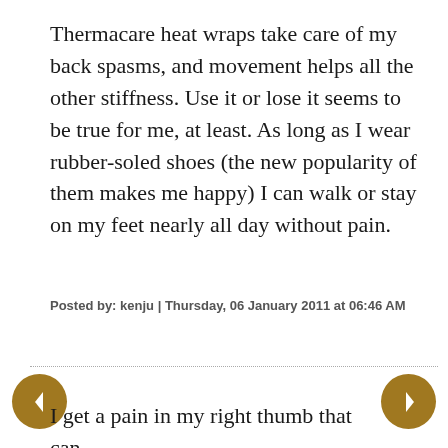Thermacare heat wraps take care of my back spasms, and movement helps all the other stiffness. Use it or lose it seems to be true for me, at least. As long as I wear rubber-soled shoes (the new popularity of them makes me happy) I can walk or stay on my feet nearly all day without pain.
Posted by: kenju | Thursday, 06 January 2011 at 06:46 AM
I get a pain in my right thumb that can